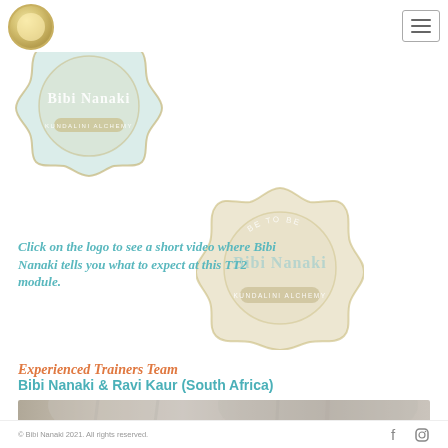[Figure (logo): Hamburger menu button top right]
[Figure (logo): Bibi Nanaki Kundalini Alchemy logo badge top-left, semi-transparent teal/gold]
[Figure (logo): Second Bibi Nanaki Kundalini Alchemy logo badge center, semi-transparent gold, with 'BE TO BE' text]
Click on the logo to see a short video where Bibi Nanaki tells you what to expect at this TT2 module.
Experienced Trainers Team
Bibi Nanaki & Ravi Kaur (South Africa)
[Figure (photo): Partial photo showing two people wearing white turbans, cropped at bottom]
© Bibi Nanaki 2021. All rights reserved.